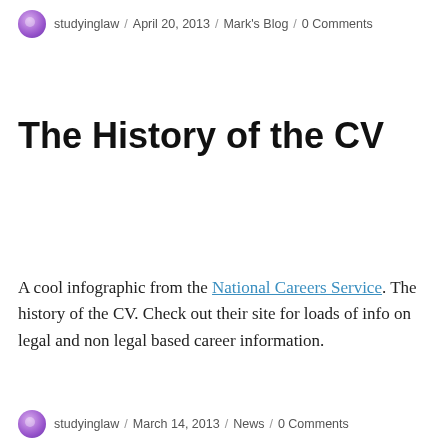studyinglaw / April 20, 2013 / Mark's Blog / 0 Comments
The History of the CV
A cool infographic from the National Careers Service. The history of the CV. Check out their site for loads of info on legal and non legal based career information.
studyinglaw / March 14, 2013 / News / 0 Comments